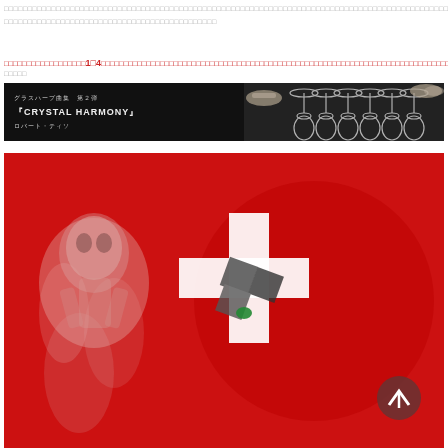□□□□□□□□□□□□□□□□□□□□□□□□□□□□□□□□□□□□□□□□□□□□□□□□□□□□□□□□□□□□□□□□□□□□□□□□□□□□□□□□□□□□□□□□□□□□□□□□□□□□□□□□□□□□□□□□□□□□□□□□□□□□□□□□□□□□□□□□□□□□□□□□□□□□□□
□□□□□□□□□□□□□□□□□□1□4□□□□□□□□□□□□□□□□□□□□□□□□□□□□□□□□□□□□□□□□□□□□□□□□□□□□□□□□□□□□□□□□□□□□□□□□□□□□□□□□□□□□□□□□□□□□□□□□□□□□□□
□□□□□
[Figure (photo): Banner advertisement on black background for 'CRYSTAL HARMONY' glass harp music album by Robert Tiso (ロバート・ティソ), showing wine glasses being played with hands, Japanese text グラスハープ曲集 第２弾]
[Figure (photo): Red background image with a skeletal/ghostly figure on the left side emitting smoke, and a white cross symbol with dark geometric shapes overlaid on the right side, plus a circular back-to-top button]